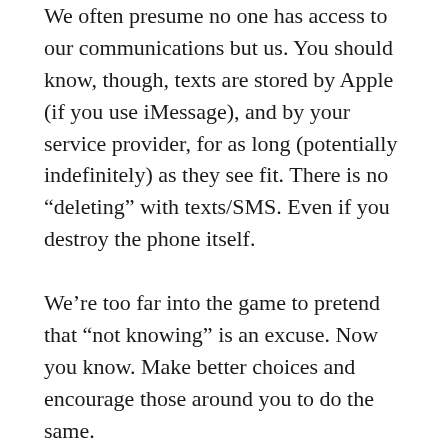We often presume no one has access to our communications but us. You should know, though, texts are stored by Apple (if you use iMessage), and by your service provider, for as long (potentially indefinitely) as they see fit. There is no “deleting” with texts/SMS. Even if you destroy the phone itself.
We’re too far into the game to pretend that “not knowing” is an excuse. Now you know. Make better choices and encourage those around you to do the same.
Create separate social accounts. Some of what we broadly assume to be common sense about social media platforms